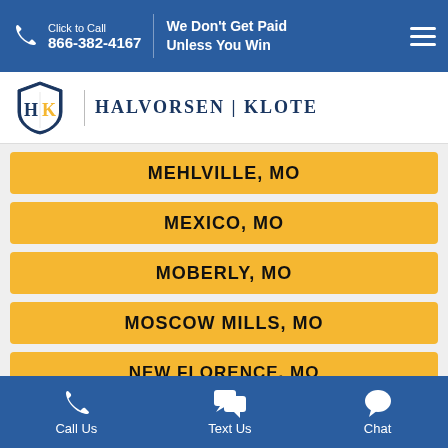Click to Call 866-382-4167 | We Don't Get Paid Unless You Win
[Figure (logo): Halvorsen Klote law firm logo with shield emblem]
MEHLVILLE, MO
MEXICO, MO
MOBERLY, MO
MOSCOW MILLS, MO
NEW FLORENCE, MO
Call Us  Text Us  Chat